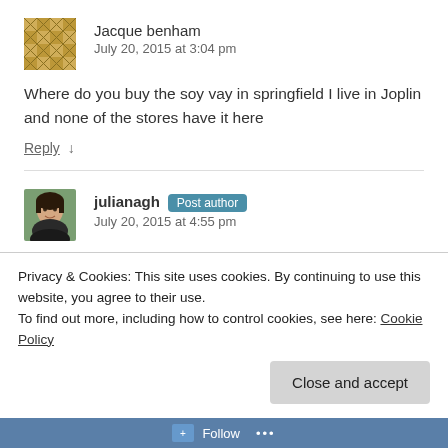Jacque benham
July 20, 2015 at 3:04 pm
Where do you buy the soy vay in springfield I live in Joplin and none of the stores have it here
Reply ↓
julianagh Post author
July 20, 2015 at 4:55 pm
Privacy & Cookies: This site uses cookies. By continuing to use this website, you agree to their use.
To find out more, including how to control cookies, see here: Cookie Policy
Close and accept
Follow